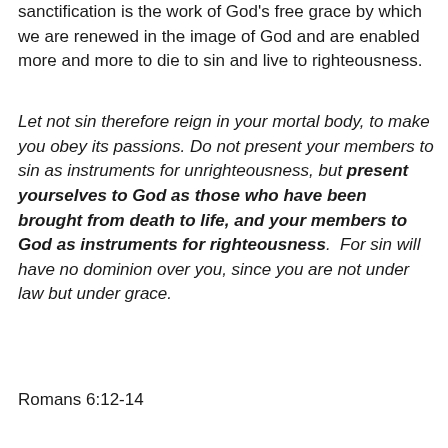sanctification is the work of God's free grace by which we are renewed in the image of God and are enabled more and more to die to sin and live to righteousness.
Let not sin therefore reign in your mortal body, to make you obey its passions. Do not present your members to sin as instruments for unrighteousness, but present yourselves to God as those who have been brought from death to life, and your members to God as instruments for righteousness. For sin will have no dominion over you, since you are not under law but under grace.
Romans 6:12-14